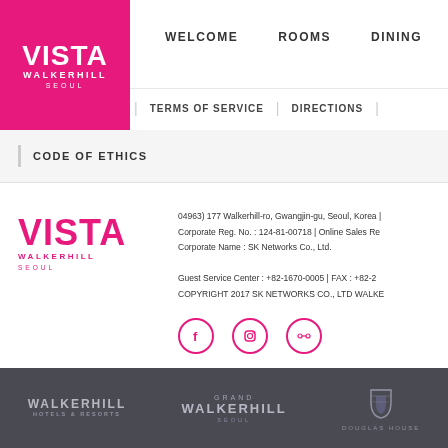[Figure (logo): Vista Walkerhill Seoul logo - white text on pink/magenta background square]
WELCOME   ROOMS   DINING
TERMS OF SERVICE   DIRECTIONS
CODE OF ETHICS
[Figure (logo): Vista Walkerhill Seoul logo in magenta on white background]
04963) 177 Walkerhill-ro, Gwangjin-gu, Seoul, Korea | Corporate Reg. No. : 124-81-00718 | Online Sales Re... Corporate Name : SK Networks Co., Ltd. Guest Service Center : +82-1670-0005 | FAX : +82-2... COPYRIGHT 2017 SK NETWORKS CO., LTD WALKE...
[Figure (infographic): Social media icons: Facebook, Instagram, TripAdvisor - magenta circle outlines]
WALKERHILL HOTELS & RESORTS   GRAND WALKERHILL SEOUL   DOUGLAS HOUSE
[Figure (logo): Walkerhill Hotels & Resorts logo in light gray on dark background]
[Figure (logo): Grand Walkerhill Seoul logo in light gray on dark background]
[Figure (logo): Douglas House logo in light gray on dark background]